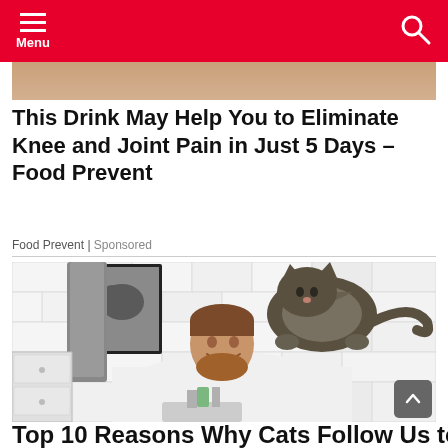Menu
[Figure (photo): Cropped photo at top showing skin/body part with tan/beige tones]
This Drink May Help You to Eliminate Knee and Joint Pain in Just 5 Days – Food Prevent
Food Prevent | Sponsored
[Figure (photo): Man in white shirt leaning over a bathroom sink, smiling upward at a cat sitting on his shoulders. White subway tile walls, mirror, gray towel in background.]
Top 10 Reasons Why Cats Follow Us to The...